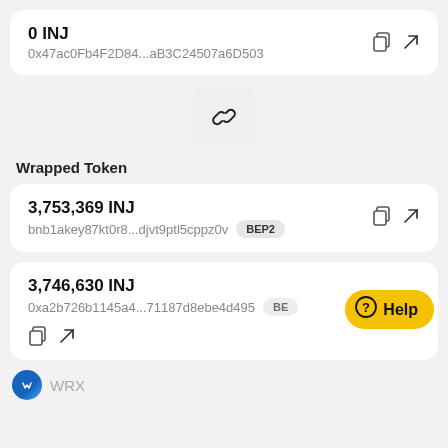0 INJ
0x47ac0Fb4F2D84...aB3C24507a6D503
[Figure (illustration): Chain link icon in a rounded square background, indicating bridge/wrapping action]
Wrapped Token
3,753,369 INJ
bnb1akey87kt0r8...djvt9ptl5cppz0v BEP2
3,746,630 INJ
0xa2b726b1145a4...71187d8ebe4d495 BE
[Figure (illustration): Yellow Help button with question mark circle icon]
WRX